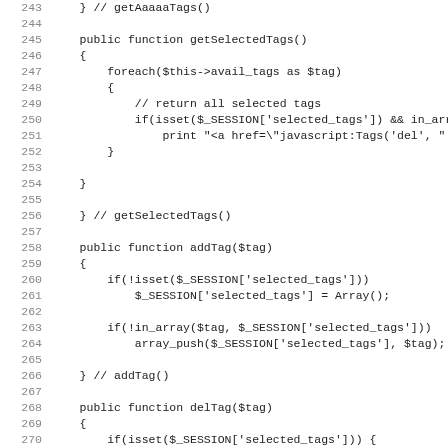Source code listing, lines 243-275, PHP class methods: getSelectedTags(), addTag($tag), delTag($tag)